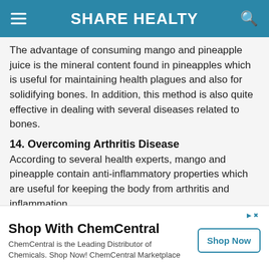SHARE HEALTY
The advantage of consuming mango and pineapple juice is the mineral content found in pineapples which is useful for maintaining health plagues and also for solidifying bones. In addition, this method is also quite effective in dealing with several diseases related to bones.
14. Overcoming Arthritis Disease
According to several health experts, mango and pineapple contain anti-inflammatory properties which are useful for keeping the body from arthritis and inflammation.
15. Maintain Blood Sugar Levels
heone has been diagnosed with diabetes, it would be
[Figure (infographic): Advertisement banner for ChemCentral with title 'Shop With ChemCentral', body text 'ChemCentral is the Leading Distributor of Chemicals. Shop Now! ChemCentral Marketplace', and a 'Shop Now' button.]